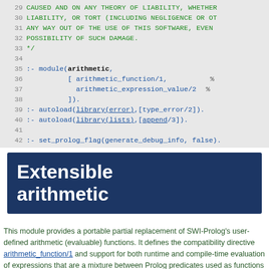[Figure (screenshot): Code listing showing Prolog source lines 29-42: module declaration for arithmetic, autoload directives for library(error) and library(lists), and set_prolog_flag directive.]
Extensible arithmetic
This module provides a portable partial replacement of SWI-Prolog's user-defined arithmetic (evaluable) functions. It defines the compatibility directive arithmetic_function/1 and support for both runtime and compile-time evaluation of expressions that are a mixture between Prolog predicates used as functions and built-in evaluable terms. */